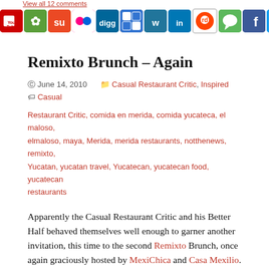View all 12 comments [social sharing icons: YouTube, NatureReader, StumbleUpon, Flickr, Digg, Delicious, WordPress, LinkedIn, Reddit, GoogleChat, Facebook, Twitter, RSS]
Remixto Brunch – Again
June 14, 2010  Casual Restaurant Critic, Inspired  Casual Restaurant Critic, comida en merida, comida yucateca, el maloso, elmaloso, maya, Merida, merida restaurants, notthenews, remixto, Yucatan, yucatan travel, Yucatecan, yucatecan food, yucatecan restaurants
Apparently the Casual Restaurant Critic and his Better Half behaved themselves well enough to garner another invitation, this time to the second Remixto Brunch, once again graciously hosted by MexiChica and Casa Mexilio.
There is little to say that the Critic didn't mention on the previous occasion, except that the heat/humidity was mercifully much more tolerable on this occasion, and the